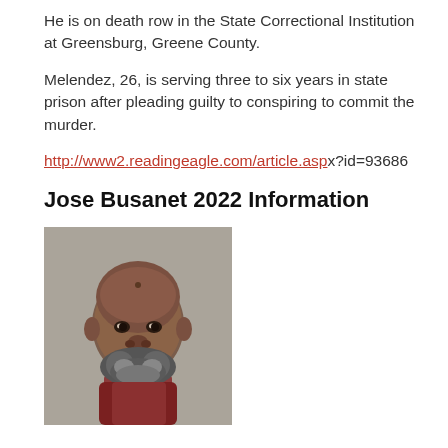He is on death row in the State Correctional Institution at Greensburg, Greene County.
Melendez, 26, is serving three to six years in state prison after pleading guilty to conspiring to commit the murder.
http://www2.readingeagle.com/article.aspx?id=93686
Jose Busanet 2022 Information
[Figure (photo): Mugshot photograph of Jose Busanet, a bald man with a gray beard wearing a dark red shirt, against a gray background.]